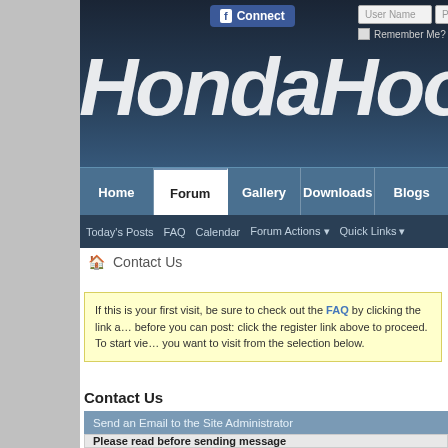[Figure (screenshot): HondaHook forum website header with logo, Facebook Connect button, login fields, navigation bar (Home, Forum, Gallery, Downloads, Blogs), and sub-navigation bar (Today's Posts, FAQ, Calendar, Forum Actions, Quick Links)]
Contact Us
If this is your first visit, be sure to check out the FAQ by clicking the link above. You may have to register before you can post: click the register link above to proceed. To start viewing messages, select the forum that you want to visit from the selection below.
Contact Us
Send an Email to the Site Administrator
Please read before sending message
No technical questions! Any question regarding installation or maintenance, please post in the designated forum where our experienced members can help. Questions sent through this message will be ignored. This section